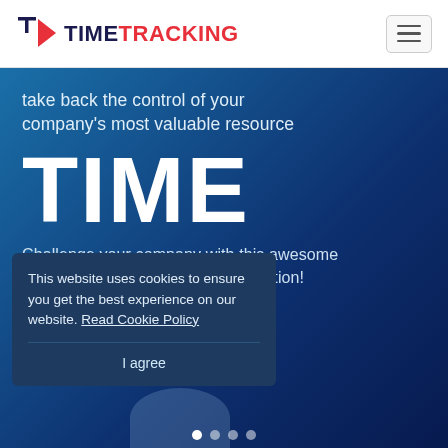TIME TRACKING
take back the control of your company's most valuable resource
TIME
Challenge your company with this awesome time and task management application!
TEST DRIVE
This website uses cookies to ensure you get the best experience on our website. Read Cookie Policy
I agree